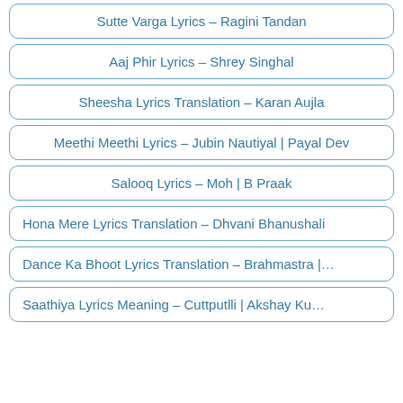Sutte Varga Lyrics – Ragini Tandan
Aaj Phir Lyrics – Shrey Singhal
Sheesha Lyrics Translation – Karan Aujla
Meethi Meethi Lyrics – Jubin Nautiyal | Payal Dev
Salooq Lyrics – Moh | B Praak
Hona Mere Lyrics Translation – Dhvani Bhanushali
Dance Ka Bhoot Lyrics Translation – Brahmastra |…
Saathiya Lyrics Meaning – Cuttputlli | Akshay Ku…